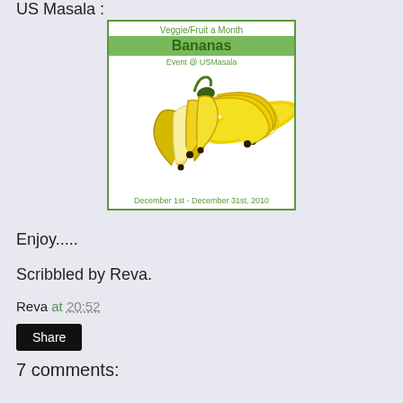US Masala :
[Figure (illustration): Veggie/Fruit a Month - Bananas Event @ USMasala banner with a photo of bananas, dated December 1st - December 31st, 2010. Green border, white background, green header bar with bold text 'Bananas'.]
Enjoy.....
Scribbled by Reva.
Reva at 20:52
Share
7 comments: